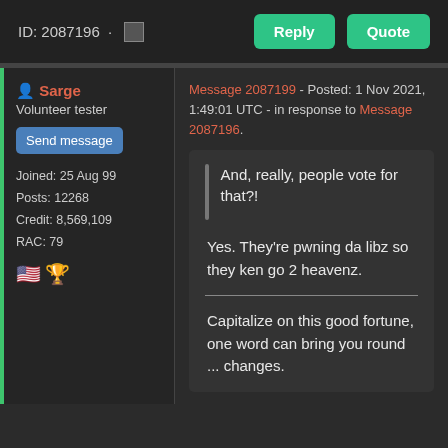ID: 2087196 · Reply Quote
Sarge
Volunteer tester
Send message
Joined: 25 Aug 99
Posts: 12268
Credit: 8,569,109
RAC: 79
Message 2087199 - Posted: 1 Nov 2021, 1:49:01 UTC - in response to Message 2087196.
And, really, people vote for that?!
Yes. They're pwning da libz so they ken go 2 heavenz.
Capitalize on this good fortune, one word can bring you round ... changes.